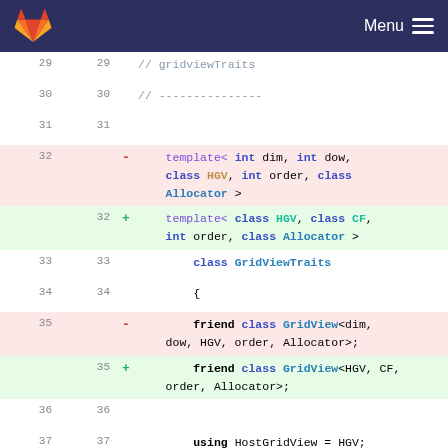GitLab header with logo and Menu
[Figure (screenshot): Code diff view showing C++ template class changes. Lines 29-40 of a C++ source file showing GridViewTraits template parameter changes from (int dim, int dow, class HGV, int order, class Allocator) to (class HGV, class CF, int order, class Allocator), and friend class changes from GridView<dim, dow, HGV, order, Allocator> to GridView<HGV, CF, order, Allocator>. Also shows addition of using CoordFunction = CF; line.]